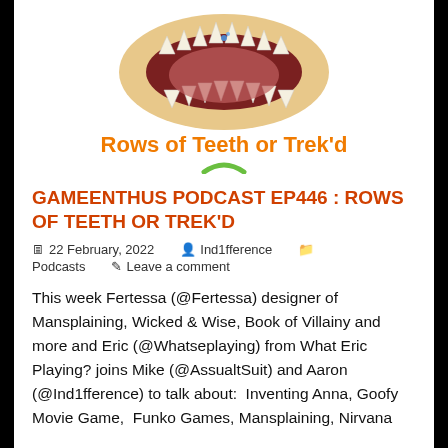[Figure (photo): Podcast logo showing an open mouth/jaw with teeth from above, white background]
Rows of Teeth or Trek'd
GAMEENTHUS PODCAST EP446 : ROWS OF TEETH OR TREK'D
22 February, 2022  Ind1fference  Podcasts  Leave a comment
This week Fertessa (@Fertessa) designer of Mansplaining, Wicked & Wise, Book of Villainy and more and Eric (@Whatseplaying) from What Eric Playing? joins Mike (@AssualtSuit) and Aaron (@Ind1fference) to talk about:  Inventing Anna, Goofy Movie Game,  Funko Games, Mansplaining, Nirvana